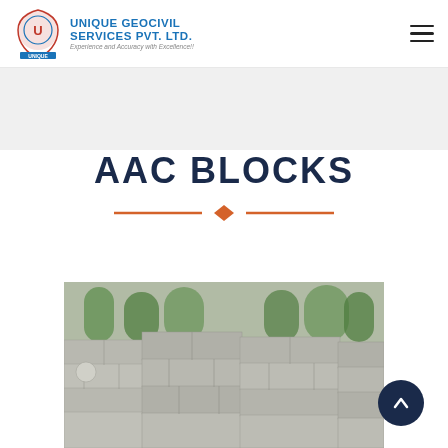UNIQUE GEOCIVIL SERVICES PVT. LTD. — Experience and Accuracy with Excellence!!
AAC BLOCKS
[Figure (photo): Stack of grey AAC (Autoclaved Aerated Concrete) blocks piled outdoors with trees in background]